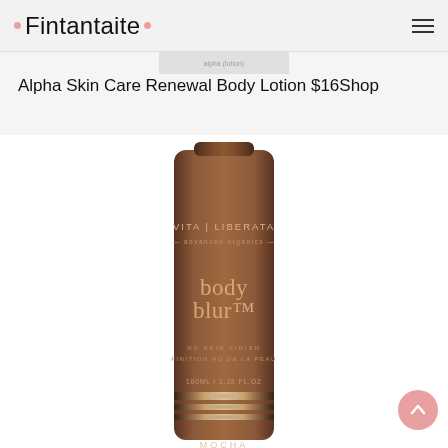Fintantaite
Alpha Skin Care Renewal Body Lotion $16Shop
[Figure (photo): Vita Liberata advanced organics Body Blur HD skin finish tube in Mocha shade, brown metallic tube with stripe details, 100ml / 3.38 fl oz]